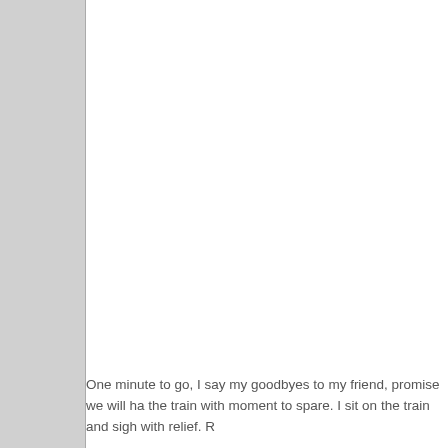One minute to go, I say my goodbyes to my friend, promise we will ha the train with moment to spare. I sit on the train and sigh with relief. R